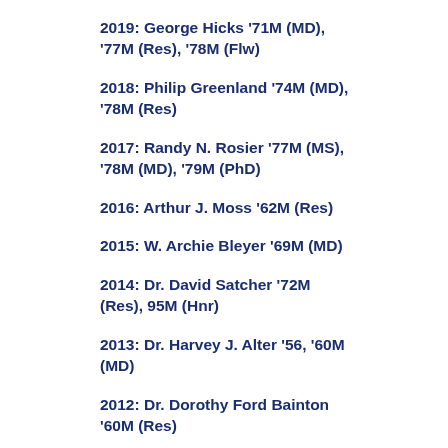2019: George Hicks '71M (MD), '77M (Res), '78M (Flw)
2018: Philip Greenland '74M (MD), '78M (Res)
2017: Randy N. Rosier '77M (MS), '78M (MD), '79M (PhD)
2016: Arthur J. Moss '62M (Res)
2015: W. Archie Bleyer '69M (MD)
2014: Dr. David Satcher '72M (Res), 95M (Hnr)
2013: Dr. Harvey J. Alter '56, '60M (MD)
2012: Dr. Dorothy Ford Bainton '60M (Res)